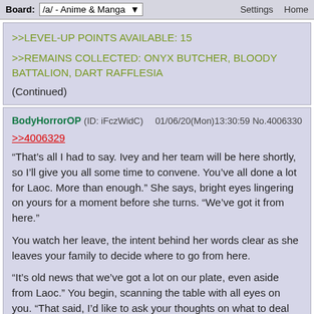Board: /a/ - Anime & Manga   Settings  Home
>>LEVEL-UP POINTS AVAILABLE: 15
>>REMAINS COLLECTED: ONYX BUTCHER, BLOODY BATTALION, DART RAFFLESIA
(Continued)
BodyHorrorOP (ID: iFczWidC)   01/06/20(Mon)13:30:59 No.4006330
>>4006329
“That’s all I had to say. Ivey and her team will be here shortly, so I’ll give you all some time to convene. You’ve all done a lot for Laoc. More than enough.” She says, bright eyes lingering on yours for a moment before she turns. “We’ve got it from here.”

You watch her leave, the intent behind her words clear as she leaves your family to decide where to go from here.

“It’s old news that we’ve got a lot on our plate, even aside from Laoc.” You begin, scanning the table with all eyes on you. “That said, I’d like to ask your thoughts on what to deal with next.”

Julia and Gina glance towards Francine, prompting a darkly amused chuckle from the doctor.